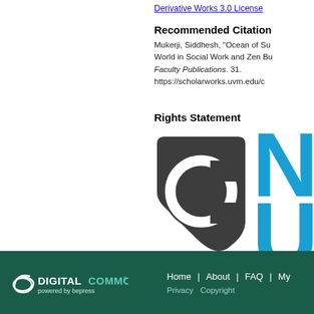Derivative Works 3.0 License
Recommended Citation
Mukerji, Siddhesh, "Ocean of Su... World in Social Work and Zen Bu... Faculty Publications. 31. https://scholarworks.uvm.edu/c...
Rights Statement
[Figure (logo): Rights statement logo showing a copyright symbol in a dark rounded shape, and a blue stylized letter N/U mark]
DIGITALCOMMONS powered by bepress | Home | About | FAQ | My... | Privacy | Copyright